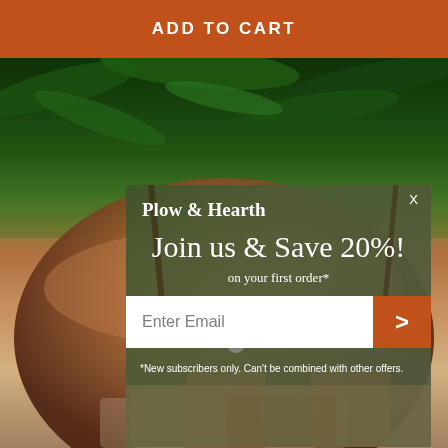ADD TO CART
[Figure (photo): Background photo of outdoor garden scene with green foliage, a large terracotta/clay pot/vessel, and an outdoor patio setting with furniture visible in the lower portion.]
Plow & Hearth
Join us & Save 20%!
on your first order*
Enter Email
*New subscribers only. Can't be combined with other offers.